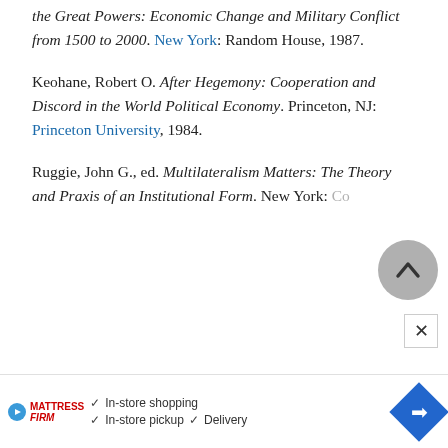the Great Powers: Economic Change and Military Conflict from 1500 to 2000. New York: Random House, 1987.
Keohane, Robert O. After Hegemony: Cooperation and Discord in the World Political Economy. Princeton, NJ: Princeton University, 1984.
Ruggie, John G., ed. Multilateralism Matters: The Theory and Praxis of an Institutional Form. New York: Co...